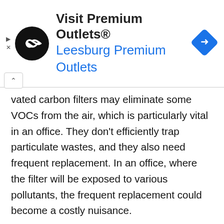[Figure (other): Advertisement banner for Visit Premium Outlets® — Leesburg Premium Outlets, with a circular black logo with white infinity-like symbol, blue navigation diamond icon on the right, and small play/close controls on the left below.]
vated carbon filters may eliminate some VOCs from the air, which is particularly vital in an office. They don't efficiently trap particulate wastes, and they also need frequent replacement. In an office, where the filter will be exposed to various pollutants, the frequent replacement could become a costly nuisance.
Air purifiers that use UV light, ozone, or ionization to remove or destroy toxins are ineffective while UV light can be used to purify.Commercial UV purifiers are simply far too small and thin to clean the contents of air necessary to make any kind of difference in an